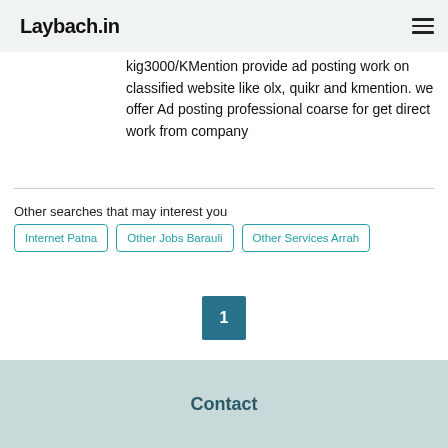Laybach.in
kig3000/KMention provide ad posting work on classified website like olx, quikr and kmention. we offer Ad posting professional coarse for get direct work from company
Other searches that may interest you
Internet Patna
Other Jobs Barauli
Other Services Arrah
1
Contact